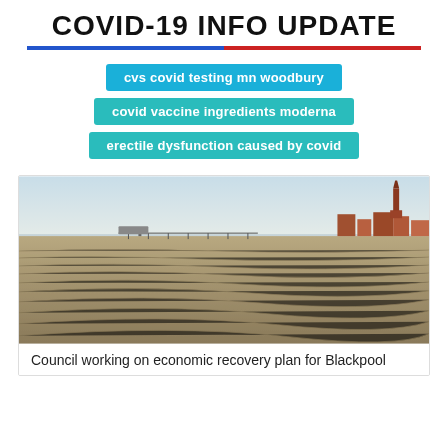COVID-19 INFO UPDATE
cvs covid testing mn woodbury
covid vaccine ingredients moderna
erectile dysfunction caused by covid
[Figure (photo): Wide beach scene at Blackpool showing rippled sand in foreground, a pier in the background left, and Blackpool Tower and buildings on the right under a hazy sky.]
Council working on economic recovery plan for Blackpool